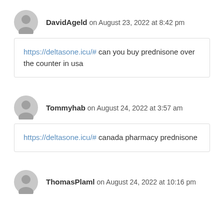DavidAgeld on August 23, 2022 at 8:42 pm
https://deltasone.icu/# can you buy prednisone over the counter in usa
Tommyhab on August 24, 2022 at 3:57 am
https://deltasone.icu/# canada pharmacy prednisone
ThomasPlaml on August 24, 2022 at 10:16 pm